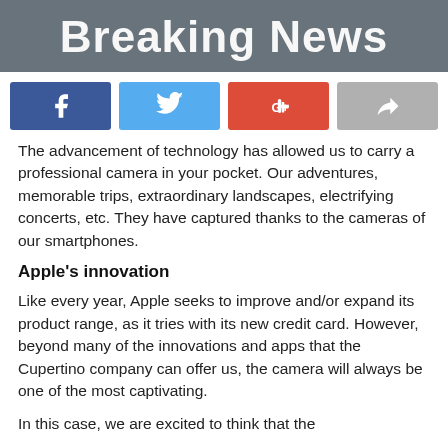[Figure (photo): Breaking News banner image with text overlay on a dark background showing a hand holding a smartphone]
[Figure (infographic): Social sharing buttons: Facebook (blue), Twitter (light blue), Google+ (red), Share (grey)]
The advancement of technology has allowed us to carry a professional camera in your pocket. Our adventures, memorable trips, extraordinary landscapes, electrifying concerts, etc. They have captured thanks to the cameras of our smartphones.
Apple's innovation
Like every year, Apple seeks to improve and/or expand its product range, as it tries with its new credit card. However, beyond many of the innovations and apps that the Cupertino company can offer us, the camera will always be one of the most captivating.
In this case, we are excited to think that the